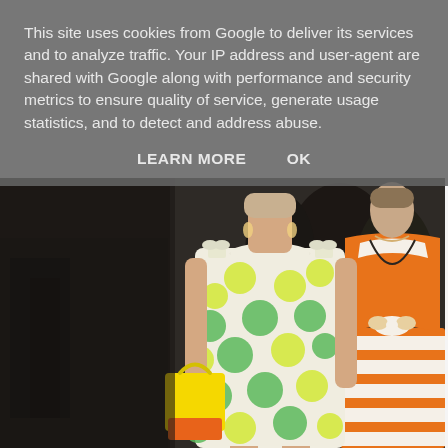This site uses cookies from Google to deliver its services and to analyze traffic. Your IP address and user-agent are shared with Google along with performance and security metrics to ensure quality of service, generate usage statistics, and to detect and address abuse.
LEARN MORE    OK
[Figure (photo): Fashion runway photo showing two female models wearing colorful dresses. Front model wears a white dress with large yellow and green polka dots and bow shoulder details, carrying a yellow and orange handbag. Back model wears an open-back orange and white striped dress with a bow at the back.]